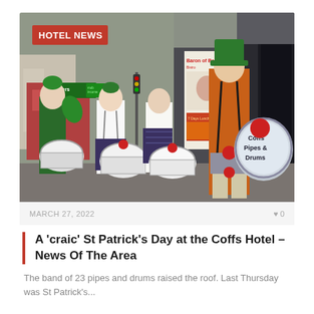[Figure (photo): A pipe and drums band in green tartan kilts and green hats marching outside the Coffs Hotel on St Patrick's Day. The main figure in an orange costume with a large bass drum labeled 'Coffs Pipes & Drums' faces the door. A 'Baron of Beef' sign is visible. A 'HOTEL NEWS' badge overlays the top left of the photo.]
MARCH 27, 2022
0
A 'craic' St Patrick's Day at the Coffs Hotel – News Of The Area
The band of 23 pipes and drums raised the roof. Last Thursday was St Patrick's...